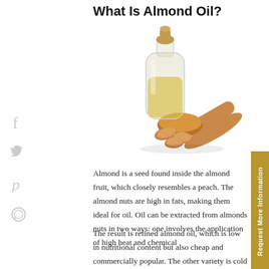What Is Almond Oil?
[Figure (photo): A glass bottle with cork stopper filled with golden almond oil, surrounded by whole almonds on a wooden scoop, on a white background.]
Almond is a seed found inside the almond fruit, which closely resembles a peach. The almond nuts are high in fats, making them ideal for oil. Oil can be extracted from almonds nuts in two ways: one involves the application of high heat and chemical
The result is refined almond oil, which is low in nutritional content but also cheap and commercially popular. The other variety is cold pressed almond oil, which is more expensive but also much more